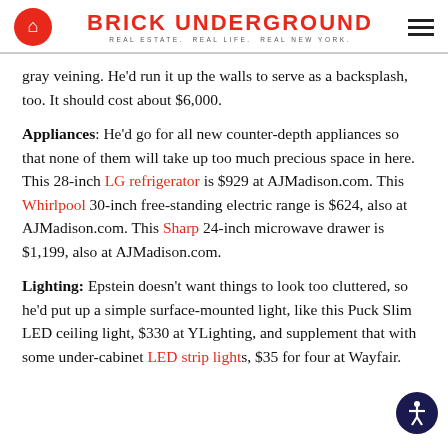BRICK UNDERGROUND — REAL ESTATE. REAL LIFE. REAL NEW YORK.
gray veining. He'd run it up the walls to serve as a backsplash, too. It should cost about $6,000.
Appliances: He'd go for all new counter-depth appliances so that none of them will take up too much precious space in here. This 28-inch LG refrigerator is $929 at AJMadison.com. This Whirlpool 30-inch free-standing electric range is $624, also at AJMadison.com. This Sharp 24-inch microwave drawer is $1,199, also at AJMadison.com.
Lighting: Epstein doesn't want things to look too cluttered, so he'd put up a simple surface-mounted light, like this Puck Slim LED ceiling light, $330 at YLighting, and supplement that with some under-cabinet LED strip lights, $35 for four at Wayfair.